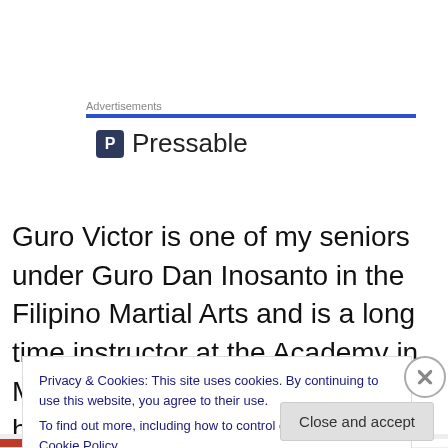Advertisements
[Figure (logo): Pressable logo with blue square P icon and the text 'Pressable']
Guro Victor is one of my seniors under Guro Dan Inosanto in the Filipino Martial Arts and is a long time instructor at the Academy in Marina del Rey. In addition he holds Ambassador title in
Privacy & Cookies: This site uses cookies. By continuing to use this website, you agree to their use.
To find out more, including how to control cookies, see here: Cookie Policy
Close and accept